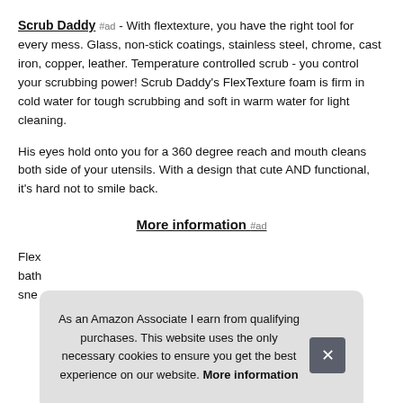Scrub Daddy #ad - With flextexture, you have the right tool for every mess. Glass, non-stick coatings, stainless steel, chrome, cast iron, copper, leather. Temperature controlled scrub - you control your scrubbing power! Scrub Daddy's FlexTexture foam is firm in cold water for tough scrubbing and soft in warm water for light cleaning.
His eyes hold onto you for a 360 degree reach and mouth cleans both side of your utensils. With a design that cute AND functional, it's hard not to smile back.
More information #ad
Flex bath sne
As an Amazon Associate I earn from qualifying purchases. This website uses the only necessary cookies to ensure you get the best experience on our website. More information